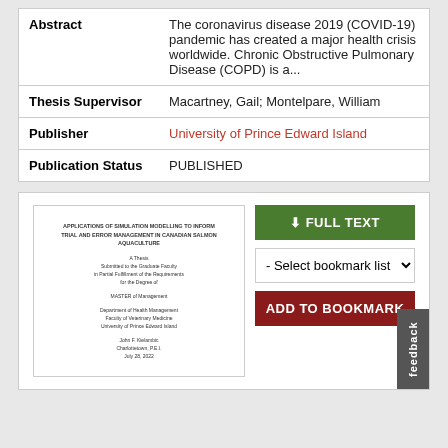| Field | Value |
| --- | --- |
| Abstract | The coronavirus disease 2019 (COVID-19) pandemic has created a major health crisis worldwide. Chronic Obstructive Pulmonary Disease (COPD) is a... |
| Thesis Supervisor | Macartney, Gail; Montelpare, William |
| Publisher | University of Prince Edward Island |
| Publication Status | PUBLISHED |
[Figure (other): Thumbnail preview of a thesis document titled about applications of simulation modelling to inform trial and error management in Canadian salmon aquaculture]
FULL TEXT
- Select bookmark list -
ADD TO BOOKMARK
feedback